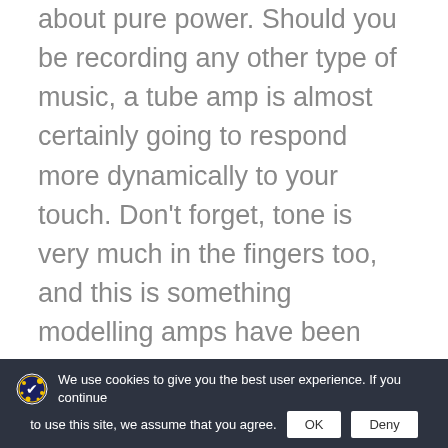about pure power. Should you be recording any other type of music, a tube amp is almost certainly going to respond more dynamically to your touch. Don't forget, tone is very much in the fingers too, and this is something modelling amps have been trying to recreate – with varied levels of success – over the years.

The reliability and flexibility of modern digital modelling amps certainly offer much to today's
We use cookies to give you the best user experience. If you continue to use this site, we assume that you agree.